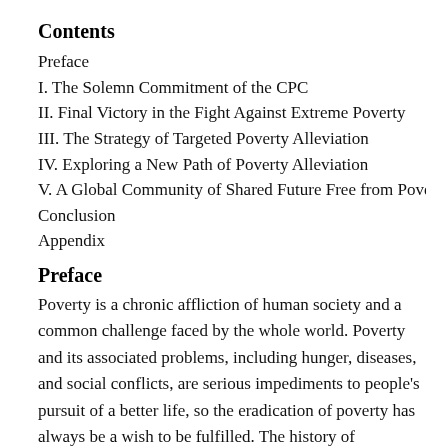Contents
Preface
I. The Solemn Commitment of the CPC
II. Final Victory in the Fight Against Extreme Poverty
III. The Strategy of Targeted Poverty Alleviation
IV. Exploring a New Path of Poverty Alleviation
V. A Global Community of Shared Future Free from Poverty
Conclusion
Appendix
Preface
Poverty is a chronic affliction of human society and a common challenge faced by the whole world. Poverty and its associated problems, including hunger, diseases, and social conflicts, are serious impediments to people's pursuit of a better life, so the eradication of poverty has always be a wish to be fulfilled. The history of humankind is the